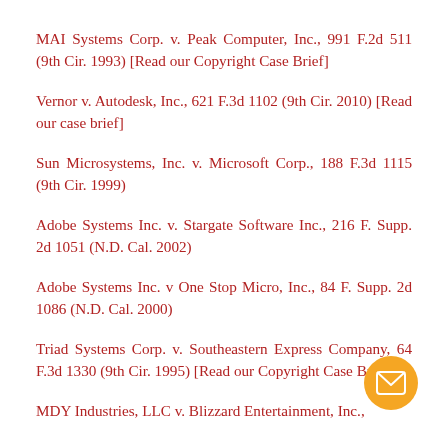MAI Systems Corp. v. Peak Computer, Inc., 991 F.2d 511 (9th Cir. 1993) [Read our Copyright Case Brief]
Vernor v. Autodesk, Inc., 621 F.3d 1102 (9th Cir. 2010) [Read our case brief]
Sun Microsystems, Inc. v. Microsoft Corp., 188 F.3d 1115 (9th Cir. 1999)
Adobe Systems Inc. v. Stargate Software Inc., 216 F. Supp. 2d 1051 (N.D. Cal. 2002)
Adobe Systems Inc. v One Stop Micro, Inc., 84 F. Supp. 2d 1086 (N.D. Cal. 2000)
Triad Systems Corp. v. Southeastern Express Company, 64 F.3d 1330 (9th Cir. 1995) [Read our Copyright Case Brief]
MDY Industries, LLC v. Blizzard Entertainment, Inc.,